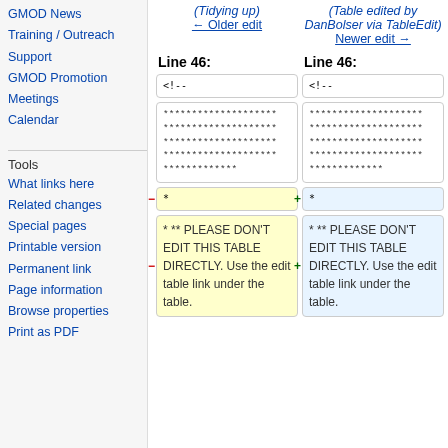GMOD News
Training / Outreach
Support
GMOD Promotion
Meetings
Calendar
Tools
What links here
Related changes
Special pages
Printable version
Permanent link
Page information
Browse properties
Print as PDF
(Tidying up)
← Older edit
(Table edited by DanBolser via TableEdit)
Newer edit →
Line 46:
Line 46:
<!--
<!--
******************** ******************** ******************** ******************** *************
******************** ******************** ******************** ******************** *************
*
*
*  ** PLEASE DON'T EDIT THIS TABLE DIRECTLY.  Use the edit table link under the table.
*  ** PLEASE DON'T EDIT THIS TABLE DIRECTLY.  Use the edit table link under the table.